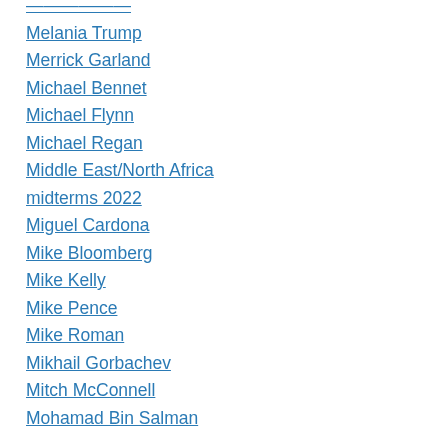Melania Trump
Merrick Garland
Michael Bennet
Michael Flynn
Michael Regan
Middle East/North Africa
midterms 2022
Miguel Cardona
Mike Bloomberg
Mike Kelly
Mike Pence
Mike Roman
Mikhail Gorbachev
Mitch McConnell
Mohamad Bin Salman